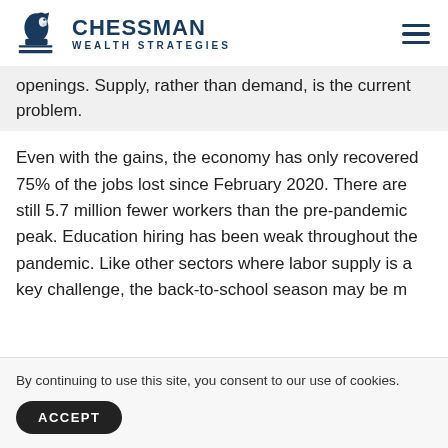CHESSMAN WEALTH STRATEGIES
openings. Supply, rather than demand, is the current problem.
Even with the gains, the economy has only recovered 75% of the jobs lost since February 2020. There are still 5.7 million fewer workers than the pre-pandemic peak. Education hiring has been weak throughout the pandemic. Like other sectors where labor supply is a key challenge, the back-to-school season may be more... the...
By continuing to use this site, you consent to our use of cookies.